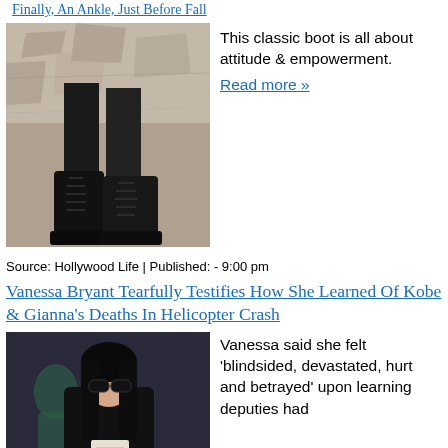Finally, An Ankle, Just Before Fall
[Figure (photo): Close-up photo of black lace-up leather boots worn against a stone wall background]
This classic boot is all about attitude & empowerment. Read more »
Source: Hollywood Life | Published: - 9:00 pm
Vanessa Bryant Tearfully Testifies How She Learned Of Kobe & Gianna's Deaths In Helicopter Crash
[Figure (photo): Photo of a woman with long black hair wearing sunglasses and dark clothing, holding papers]
Vanessa said she felt 'blindsided, devastated, hurt and betrayed' upon learning deputies had